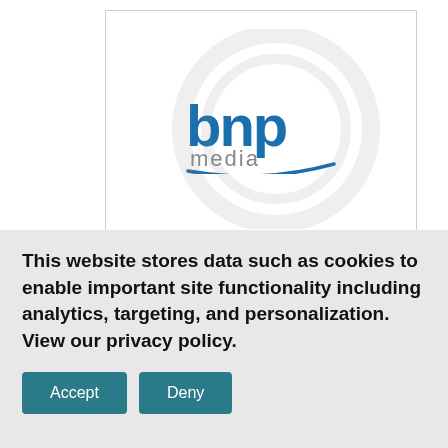[Figure (logo): BNP Media logo on white background with light grey circular watermark behind it]
“Combining the performance characteristics of epoxy grout and the ease of handling similar to a cement grout, Fusion Pro represents one of the most important breakthroughs in grout technology. We have created ‘Win With Fusion Pro’ as a fun and
This website stores data such as cookies to enable important site functionality including analytics, targeting, and personalization. View our privacy policy.